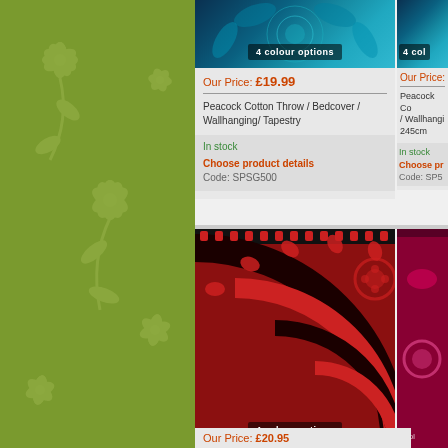[Figure (photo): Green floral patterned sidebar background]
[Figure (photo): Peacock Cotton Throw product image with '4 colour options' badge, teal/blue tones]
Our Price: £19.99
Peacock Cotton Throw / Bedcover / Wallhanging/ Tapestry
In stock
Choose product details
Code: SPSG500
[Figure (photo): Partially visible second Peacock product image, teal/blue tones, '4 col' badge visible]
Our Price:
Peacock Co... / Wallhangi... 245cm
In stock
Choose pr...
Code: SP5...
[Figure (photo): Red and black elephant mandala tapestry product image with '4 colour options' badge]
[Figure (photo): Partially visible magenta/red decorative textile product image with '4 col' badge]
Our Price: £20.95